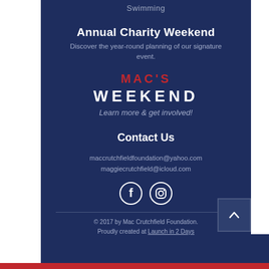Swimming
Annual Charity Weekend
Discover the year-round planning of our signature event.
MAC'S WEEKEND
Learn more & get involved!
Contact Us
maccrutchfieldfoundation@yahoo.com
maggiecrutchfield@icloud.com
[Figure (infographic): Social media icons: Facebook and Instagram circles]
© 2017 by Mac Crutchfield Foundation. Proudly created at Launch in 2 Days